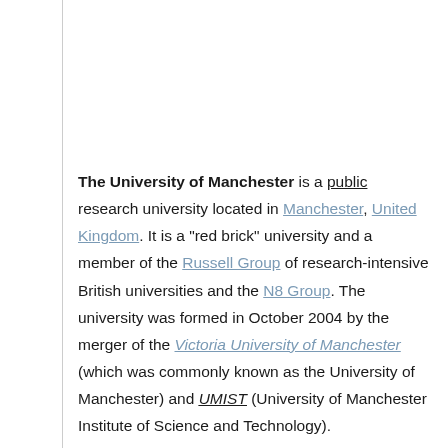The University of Manchester is a public research university located in Manchester, United Kingdom. It is a "red brick" university and a member of the Russell Group of research-intensive British universities and the N8 Group. The university was formed in October 2004 by the merger of the Victoria University of Manchester (which was commonly known as the University of Manchester) and UMIST (University of Manchester Institute of Science and Technology).